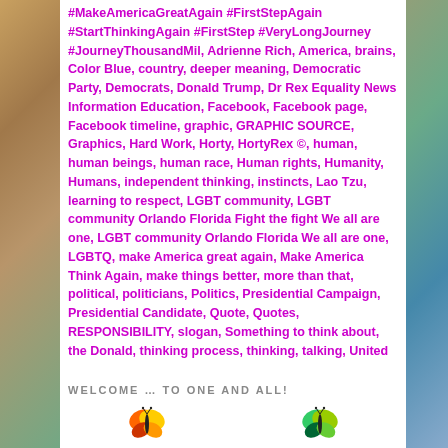#MakeAmericaGreatAgain #FirstStepAgain #StartThinkingAgain #FirstStep #VeryLongJourney #JourneyThousandMil, Adrienne Rich, America, brains, Color Blue, country, deeper meaning, Democratic Party, Democrats, Donald Trump, Dr Rex Equality News Information Education, Facebook, Facebook page, Facebook timeline, graphic, GRAPHIC SOURCE, Graphics, Hard Work, Horty, HortyRex ©, human, human beings, human race, Human rights, Humanity, Humans, independent thinking, instincts, Lao Tzu, learning to respect, LGBT community, LGBT community Orlando Florida Fight the fight We all are one, LGBT community Orlando Florida We all are one, LGBTQ, make America great again, Make America Think Again, make things better, more than that, political, politicians, Politics, Presidential Campaign, Presidential Candidate, Quote, Quotes, RESPONSIBILITY, slogan, Something to think about, the Donald, thinking process, thinking, talking, United States, USA, We ALL are ONE, We Are All Connected, we are all one, We are ONE, We are the Voice of the Voiceless | 3 Replies
WELCOME … TO ONE AND ALL!